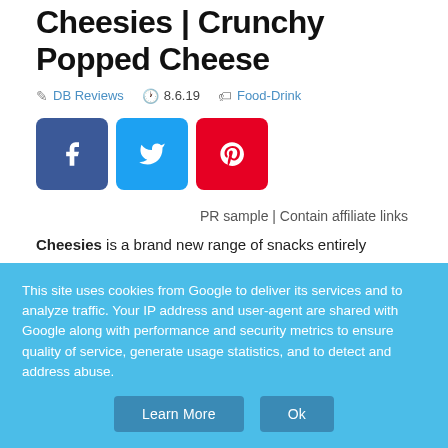Cheesies | Crunchy Popped Cheese
DB Reviews  8.6.19  Food-Drink
[Figure (other): Social share buttons: Facebook, Twitter, Pinterest]
PR sample | Contain affiliate links
Cheesies is a brand new range of snacks entirely...
This site uses cookies from Google to deliver its services and to analyze traffic. Your IP address and user-agent are shared with Google along with performance and security metrics to ensure quality of service, generate usage statistics, and to detect and address abuse.
Learn More  Ok